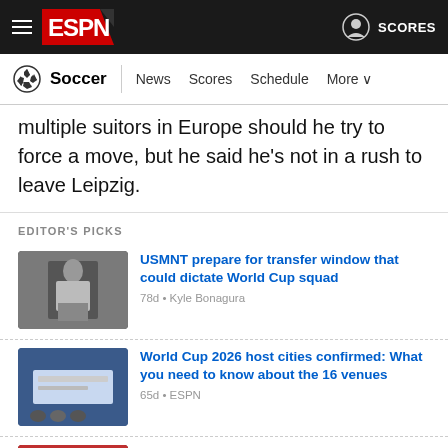ESPN Soccer — News Scores Schedule More
multiple suitors in Europe should he try to force a move, but he said he's not in a rush to leave Leipzig.
EDITOR'S PICKS
USMNT prepare for transfer window that could dictate World Cup squad
78d • Kyle Bonagura
World Cup 2026 host cities confirmed: What you need to know about the 16 venues
65d • ESPN
The biggest Dos a Cero turns 20: How the U.S. win over Mexico at the 2002 World Cup forever altered the rivalry